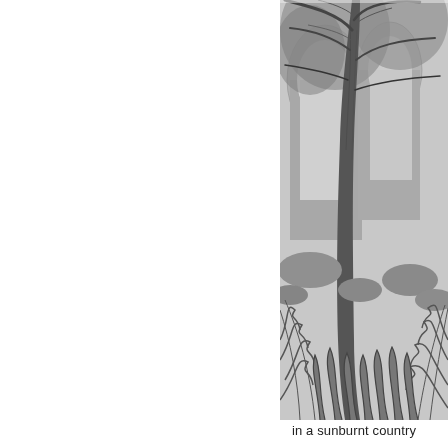[Figure (illustration): Black and white illustration showing a large tree trunk in the center with dense foliage, arched stone or rock formations behind it, and tall grass or ferns in the foreground. The image appears to be a detailed engraving or etching of a natural outdoor scene.]
in a sunburnt country